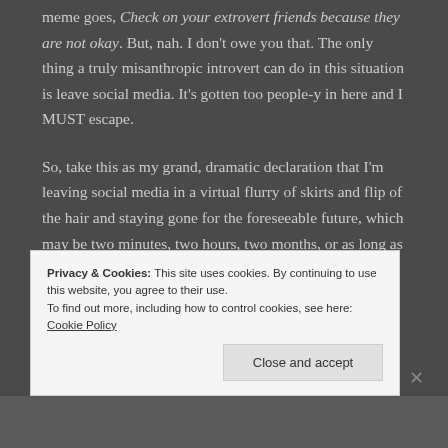meme goes, Check on your extrovert friends because they are not okay. But, nah. I don't owe you that. The only thing a truly misanthropic introvert can do in this situation is leave social media. It's gotten too people-y in here and I MUST escape.
So, take this as my grand, dramatic declaration that I'm leaving social media in a virtual flurry of skirts and flip of the hair and staying gone for the foreseeable future, which may be two minutes, two hours, two months, or as long as it takes me to compose a really hot tweet.
Privacy & Cookies: This site uses cookies. By continuing to use this website, you agree to their use. To find out more, including how to control cookies, see here: Cookie Policy
Close and accept